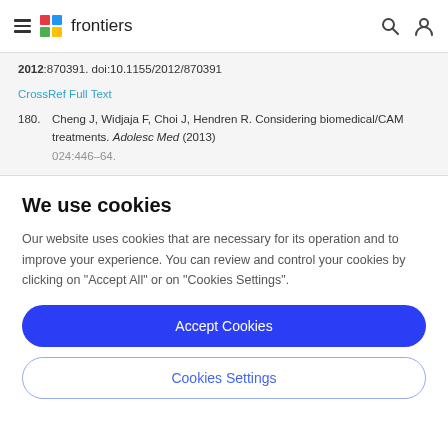frontiers
2012:870391. doi:10.1155/2012/870391
CrossRef Full Text
180. Cheng J, Widjaja F, Choi J, Hendren R. Considering biomedical/CAM treatments. Adolesc Med (2013) 024:446–64.
We use cookies
Our website uses cookies that are necessary for its operation and to improve your experience. You can review and control your cookies by clicking on "Accept All" or on "Cookies Settings".
Accept Cookies
Cookies Settings